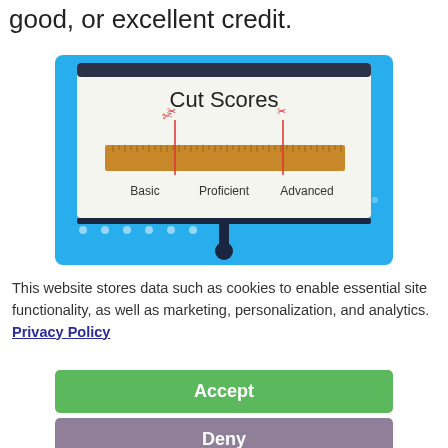good, or excellent credit.
[Figure (illustration): An illustration of a presentation screen on a blue projector stand showing 'Cut Scores' with a ruler graphic. Two red vertical lines with scissor icons mark cut points labeled Basic, Proficient, and Advanced.]
This website stores data such as cookies to enable essential site functionality, as well as marketing, personalization, and analytics. Privacy Policy
Accept
Deny